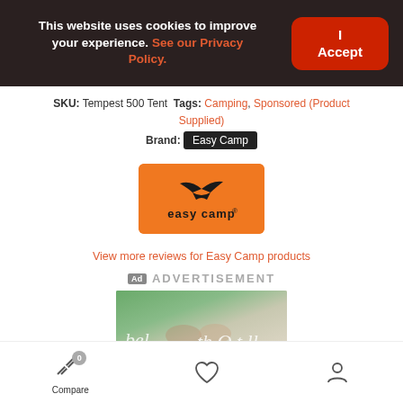This website uses cookies to improve your experience. See our Privacy Policy.
I Accept
SKU: Tempest 500 Tent Tags: Camping, Sponsored (Product Supplied)
Brand: Easy Camp
[Figure (logo): Easy Camp logo — orange rectangle with black bird-like logo and 'easy camp' text]
View more reviews for Easy Camp products
Ad ADVERTISEMENT
[Figure (photo): Two people holding hands outdoors with trees in background, advertisement image with cursive text overlay]
Compare